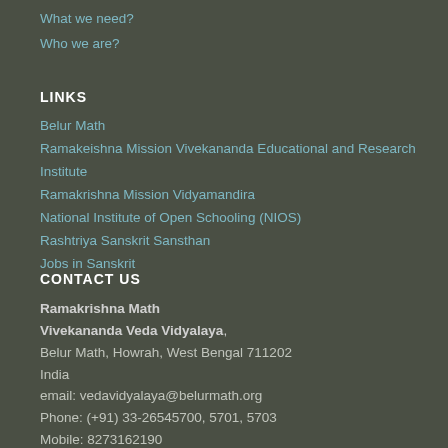What we need?
Who we are?
LINKS
Belur Math
Ramakeishna Mission Vivekananda Educational and Research Institute
Ramakrishna Mission Vidyamandira
National Institute of Open Schooling (NIOS)
Rashtriya Sanskrit Sansthan
Jobs in Sanskrit
CONTACT US
Ramakrishna Math
Vivekananda Veda Vidyalaya,
Belur Math, Howrah, West Bengal 711202
India
email: vedavidyalaya@belurmath.org
Phone: (+91) 33-26545700, 5701, 5703
Mobile: 8273162190